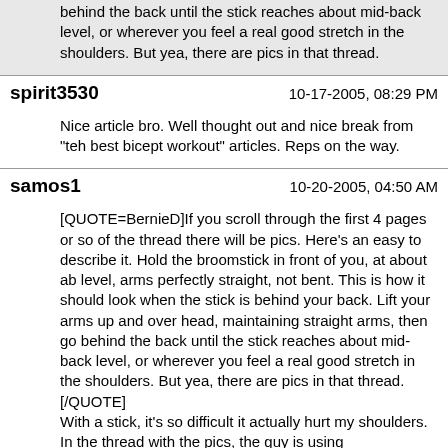behind the back until the stick reaches about mid-back level, or wherever you feel a real good stretch in the shoulders. But yea, there are pics in that thread.
spirit3530
10-17-2005, 08:29 PM
Nice article bro. Well thought out and nice break from "teh best bicept workout" articles. Reps on the way.
samos1
10-20-2005, 04:50 AM
[QUOTE=BernieD]If you scroll through the first 4 pages or so of the thread there will be pics. Here's an easy to describe it. Hold the broomstick in front of you, at about ab level, arms perfectly straight, not bent. This is how it should look when the stick is behind your back. Lift your arms up and over head, maintaining straight arms, then go behind the back until the stick reaches about mid-back level, or wherever you feel a real good stretch in the shoulders. But yea, there are pics in that thread.[/QUOTE]
With a stick, it's so difficult it actually hurt my shoulders. In the thread with the pics, the guy is using